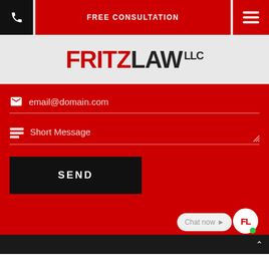[Figure (screenshot): Navigation bar with phone icon (black), FREE CONSULTATION button (red), and hamburger menu (red)]
FRITZLAW LLC
[Figure (screenshot): Contact form on red background with email field (email@domain.com), Short Message textarea, and SEND button. Chat now widget in bottom right corner.]